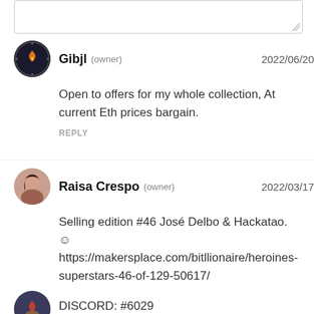(input/textarea area)
Gibjl (owner) 2022/06/20
Open to offers for my whole collection, At current Eth prices bargain.
REPLY
Raisa Crespo (owner) 2022/03/17
Selling edition #46 José Delbo & Hackatao. © https://makersplace.com/bitllionaire/heroines-superstars-46-of-129-50617/

DISCORD: #6029
Twitter: Raisa_Crespo
REPLY